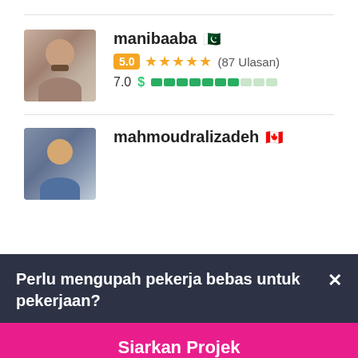[Figure (photo): Avatar photo of user manibaaba - bearded man]
manibaaba 🇵🇰
5.0 ★★★★★ (87 Ulasan)
7.0 $ ████████░░░
[Figure (photo): Avatar photo of user mahmoudralizadeh - young man with city background]
mahmoudralizadeh 🇨🇦
Perlu mengupah pekerja bebas untuk pekerjaan?
Siarkan Projek